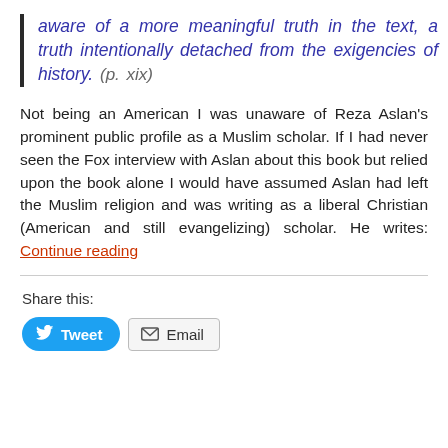aware of a more meaningful truth in the text, a truth intentionally detached from the exigencies of history. (p. xix)
Not being an American I was unaware of Reza Aslan's prominent public profile as a Muslim scholar. If I had never seen the Fox interview with Aslan about this book but relied upon the book alone I would have assumed Aslan had left the Muslim religion and was writing as a liberal Christian (American and still evangelizing) scholar. He writes: Continue reading
Share this: